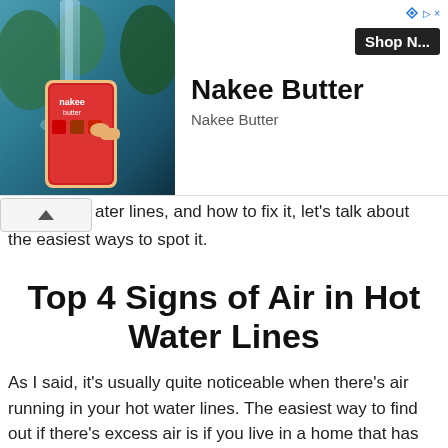[Figure (other): Advertisement banner for Nakee Butter showing a hand holding a smartphone with the Nakee Butter app in front of a waterfall background. Text shows 'Nakee Butter' in large bold font, 'Shop N...' button in black, and 'Nakee Butter' subtitle. Sponsored label with arrow icon in top right.]
ater lines, and how to fix it, let's talk about the easiest ways to spot it.
Top 4 Signs of Air in Hot Water Lines
As I said, it's usually quite noticeable when there's air running in your hot water lines. The easiest way to find out if there's excess air is if you live in a home that has steam registers. In that case, your pipes will start making a pinging noise that's